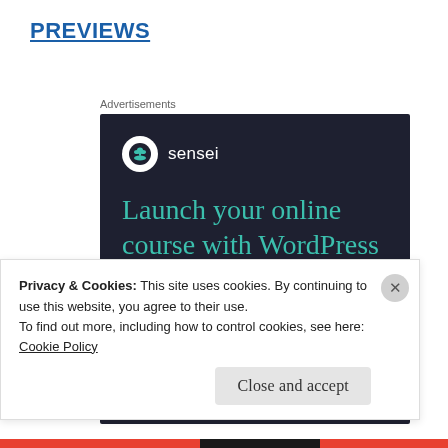PREVIEWS
Advertisements
[Figure (screenshot): Sensei advertisement: dark background with Sensei logo and bonsai tree icon, headline 'Launch your online course with WordPress', teal 'Learn More' button]
Privacy & Cookies: This site uses cookies. By continuing to use this website, you agree to their use.
To find out more, including how to control cookies, see here:
Cookie Policy
Close and accept